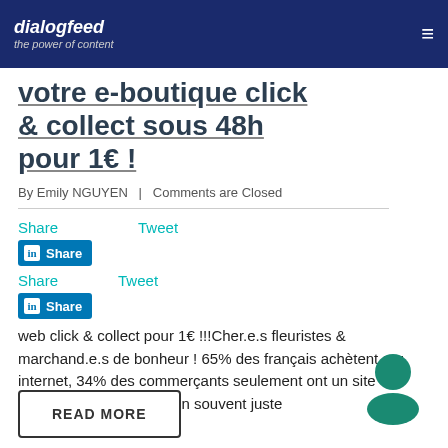dialogfeed — the power of content
votre e-boutique click & collect sous 48h pour 1€ !
By Emily NGUYEN  |  Comments are Closed
Share   Tweet
Share
Share
Tweet
web click & collect pour 1€ !!!Cher.e.s fleuristes & marchand.e.s de bonheur ! 65% des français achètent sur internet, 34% des commerçants seulement ont un site internet !? Et encore, bien souvent juste
READ MORE